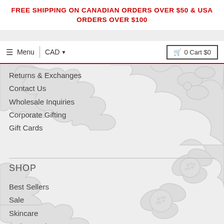FREE SHIPPING ON CANADIAN ORDERS OVER $50 & USA ORDERS OVER $100
Menu | CAD | 0 Cart $0
Returns & Exchanges
Contact Us
Wholesale Inquiries
Corporate Gifting
Gift Cards
SHOP
Best Sellers
Sale
Skincare
Bath & Body
Spa
Tea